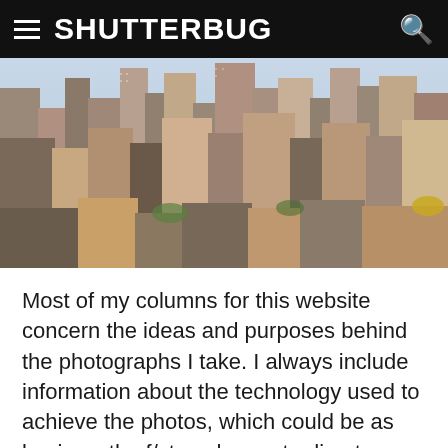SHUTTERBUG
[Figure (photo): Aerial view of a dense New York City skyline with numerous high-rise buildings and streets visible from above]
Most of my columns for this website concern the ideas and purposes behind the photographs I take. I always include information about the technology used to achieve the photos, which could be as basic as the f/stop chosen to direct your attention, or the use of a ND filter to make a long exposure possible. That approach is not incidental or coincidental; the stories are planned along those lines because my ideas come first, and technology's purpose is to